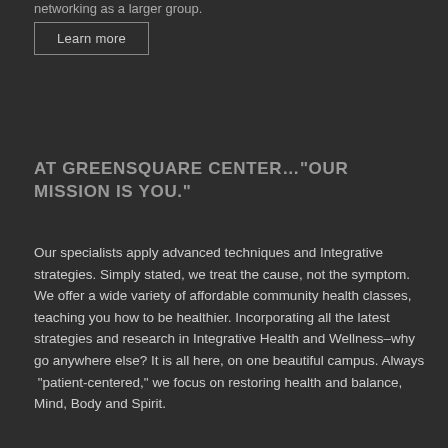networking as a larger group.
Learn more
AT GREENSQUARE CENTER…“OUR MISSION IS YOU.”
Our specialists apply advanced techniques and Integrative strategies. Simply stated, we treat the cause, not the symptom.  We offer a wide variety of affordable community health classes, teaching you how to be healthier. Incorporating all the latest strategies and research in Integrative Health and Wellness–why go anywhere else? It is all here, on one beautiful campus. Always “patient-centered,” we focus on restoring health and balance, Mind, Body and Spirit.